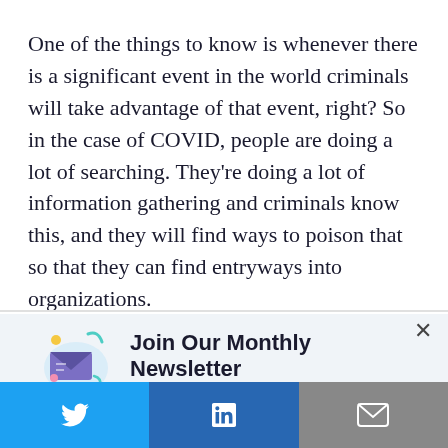One of the things to know is whenever there is a significant event in the world criminals will take advantage of that event, right? So in the case of COVID, people are doing a lot of searching. They're doing a lot of information gathering and criminals know this, and they will find ways to poison that so that they can find entryways into organizations.
Join Our Monthly Newsletter
Subscribe to get our latest articles and updates delivered directly to your inbox!
Subscribe